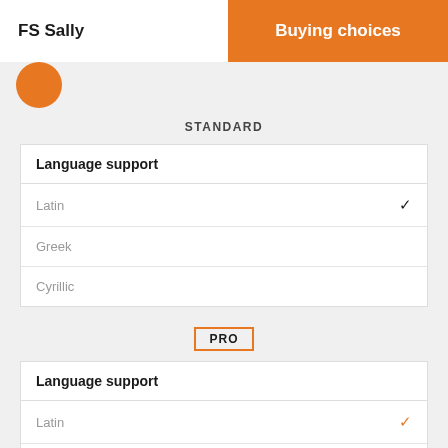FS Sally | Buying choices
STANDARD
| Language support |  |
| --- | --- |
| Latin | ✓ |
| Greek |  |
| Cyrillic |  |
PRO
| Language support |  |
| --- | --- |
| Latin | ✓ |
| Greek |  |